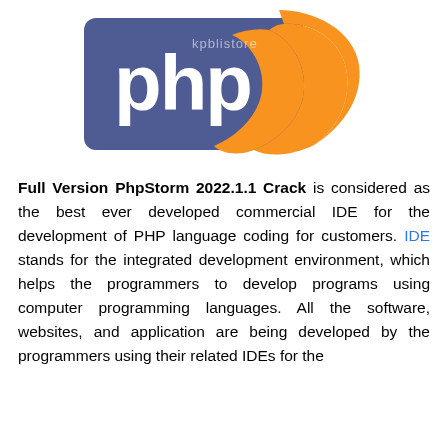[Figure (logo): PHP logo — blue rectangle with white 'php' text and orange swoosh shape on right]
Full Version PhpStorm 2022.1.1 Crack is considered as the best ever developed commercial IDE for the development of PHP language coding for customers. IDE stands for the integrated development environment, which helps the programmers to develop programs using computer programming languages. All the software, websites, and application are being developed by the programmers using their related IDEs for the